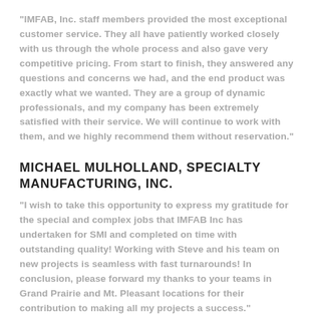"IMFAB, Inc. staff members provided the most exceptional customer service. They all have patiently worked closely with us through the whole process and also gave very competitive pricing. From start to finish, they answered any questions and concerns we had, and the end product was exactly what we wanted. They are a group of dynamic professionals, and my company has been extremely satisfied with their service. We will continue to work with them, and we highly recommend them without reservation."
MICHAEL MULHOLLAND, SPECIALTY MANUFACTURING, INC.
"I wish to take this opportunity to express my gratitude for the special and complex jobs that IMFAB Inc has undertaken for SMI and completed on time with outstanding quality! Working with Steve and his team on new projects is seamless with fast turnarounds! In conclusion, please forward my thanks to your teams in Grand Prairie and Mt. Pleasant locations for their contribution to making all my projects a success."